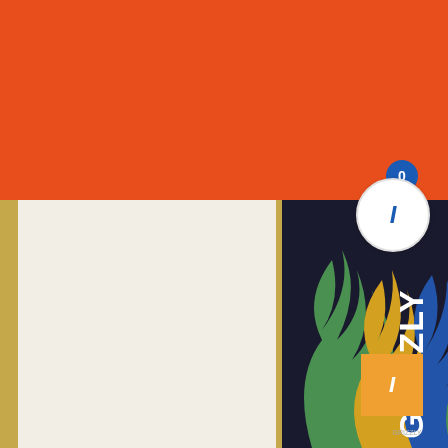[Figure (photo): Orange/red banner at top of page, product listing page for Grizzly skate grip tape. Below shows two skateboard products: a white Grizzly branded grip tape sheet with repeating bear logo pattern, and a Grizzly skateboard deck with colorful flame graphic in green, blue, orange, and yellow. A blue circular badge with 'O' and 'I' icons appears top-right. An orange square button with 'I' appears bottom-right.]